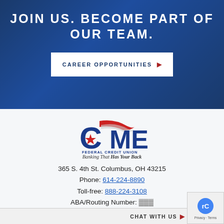JOIN US. BECOME PART OF OUR TEAM.
CAREER OPPORTUNITIES ▶
[Figure (logo): CME Federal Credit Union logo with red star, checkmark swoosh, and tagline 'Banking That Has Your Back']
365 S. 4th St. Columbus, OH 43215
Phone: 614-224-8890
Toll-free: 888-224-3108
ABA/Routing Number: ?